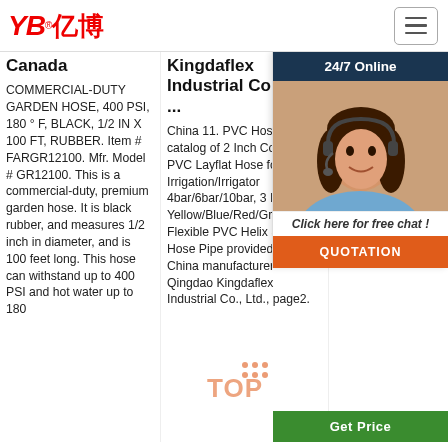YB亿博® [logo] [hamburger menu]
Canada
COMMERCIAL-DUTY GARDEN HOSE, 400 PSI, 180 ° F, BLACK, 1/2 IN X 100 FT, RUBBER. Item # FARGR12100. Mfr. Model # GR12100. This is a commercial-duty, premium garden hose. It is black rubber, and measures 1/2 inch in diameter, and is 100 feet long. This hose can withstand up to 400 PSI and hot water up to 180
Kingdaflex Industrial Co., Ltd ...
China 11. PVC Hose catalog of 2 Inch Colorful PVC Layflat Hose for Irrigation/Irrigator 4bar/6bar/10bar, 3 Inch Yellow/Blue/Red/Green Flexible PVC Helix Suction Hose Pipe provided by China manufacturer - Qingdao Kingdaflex Industrial Co., Ltd., page2.
Reinforced PV... - P...
Fea... Tou... poly... pro... rein... whi... in th... tube... brea... of tube is very high, can reach 200 kg cm²; working pressure can reach 60 kg cm²
[Figure (photo): Chat overlay with woman wearing headset, 24/7 Online header, 'Click here for free chat!' text, and QUOTATION orange button]
Get Price